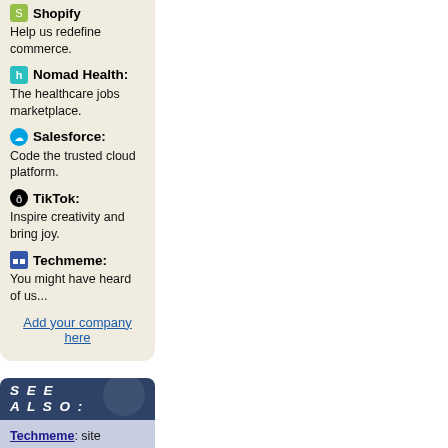Shopify: Help us redefine commerce.
Nomad Health: The healthcare jobs marketplace.
Salesforce: Code the trusted cloud platform.
TikTok: Inspire creativity and bring joy.
Techmeme: You might have heard of us...
Add your company here
SEE ALSO:
Techmeme: site main